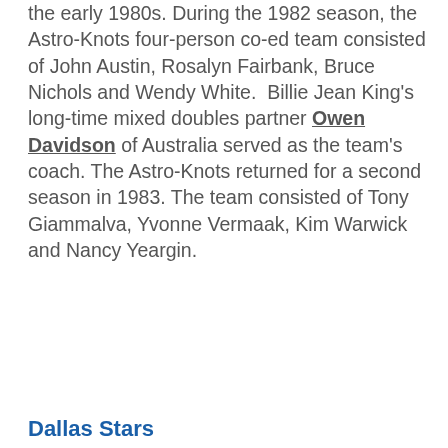the early 1980s. During the 1982 season, the Astro-Knots four-person co-ed team consisted of John Austin, Rosalyn Fairbank, Bruce Nichols and Wendy White. Billie Jean King's long-time mixed doubles partner Owen Davidson of Australia served as the team's coach. The Astro-Knots returned for a second season in 1983. The team consisted of Tony Giammalva, Yvonne Vermaak, Kim Warwick and Nancy Yeargin.
Dallas Stars